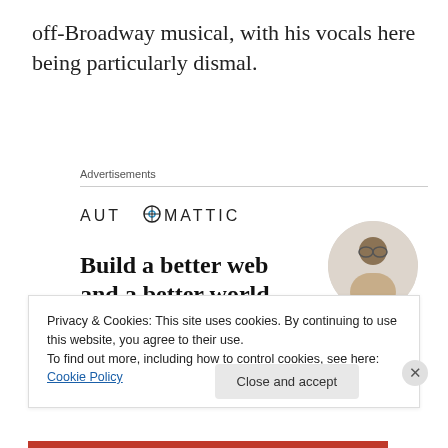off-Broadway musical, with his vocals here being particularly dismal.
Advertisements
[Figure (logo): AUTOMATTIC logo with a compass/target icon replacing the letter O]
[Figure (infographic): Automattic ad: 'Build a better web and a better world.' with an Apply button and a photo of a man thinking in a circular crop]
Privacy & Cookies: This site uses cookies. By continuing to use this website, you agree to their use.
To find out more, including how to control cookies, see here: Cookie Policy